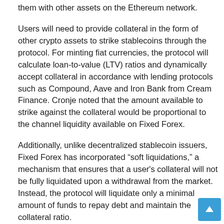them with other assets on the Ethereum network.
Users will need to provide collateral in the form of other crypto assets to strike stablecoins through the protocol. For minting fiat currencies, the protocol will calculate loan-to-value (LTV) ratios and dynamically accept collateral in accordance with lending protocols such as Compound, Aave and Iron Bank from Cream Finance. Cronje noted that the amount available to strike against the collateral would be proportional to the channel liquidity available on Fixed Forex.
Additionally, unlike decentralized stablecoin issuers, Fixed Forex has incorporated “soft liquidations,” a mechanism that ensures that a user's collateral will not be fully liquidated upon a withdrawal from the market. Instead, the protocol will liquidate only a minimal amount of funds to repay debt and maintain the collateral ratio.
The Fixed Forex contract is currently unaudited and therefore is risky to add funds for purposes other than experimental.